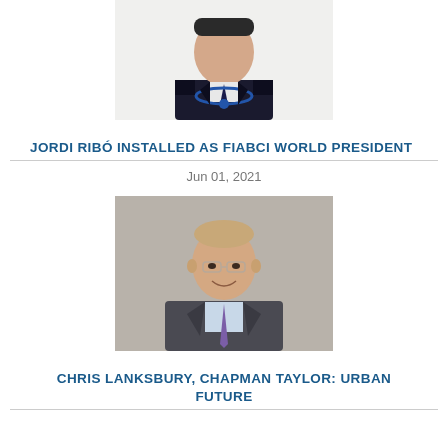[Figure (photo): Portrait photo of a man in dark suit wearing a blue medallion/chain of office, cropped at top]
JORDI RIBÓ INSTALLED AS FIABCI WORLD PRESIDENT
Jun 01, 2021
[Figure (photo): Portrait photo of a smiling middle-aged man with glasses, wearing a grey suit and purple tie, against grey background]
CHRIS LANKSBURY, CHAPMAN TAYLOR: URBAN FUTURE